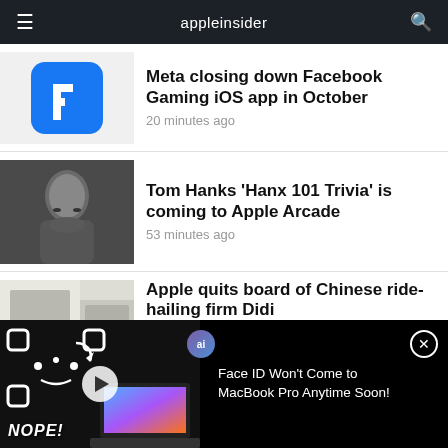appleinsider
Meta closing down Facebook Gaming iOS app in October
20 minutes ago
Tom Hanks 'Hanx 101 Trivia' is coming to Apple Arcade
53 minutes ago
Apple quits board of Chinese ride-hailing firm Didi
[Figure (screenshot): Video overlay bar showing Face ID MacBook Pro video thumbnail with NOPE text, play button, and ai badge, with title 'Face ID Won't Come to MacBook Pro Anytime Soon!']